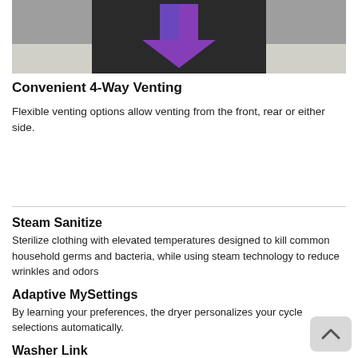[Figure (photo): Photo of a dryer appliance with a purple downward arrow indicating 4-way venting direction]
Convenient 4-Way Venting
Flexible venting options allow venting from the front, rear or either side.
Steam Sanitize
Sterilize clothing with elevated temperatures designed to kill common household germs and bacteria, while using steam technology to reduce wrinkles and odors
Adaptive MySettings
By learning your preferences, the dryer personalizes your cycle selections automatically.
Washer Link